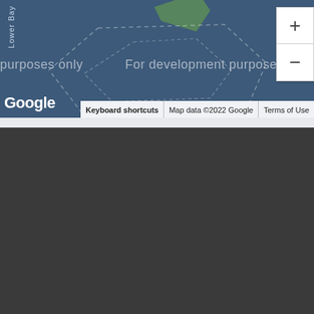[Figure (map): Google Maps screenshot showing a water area labeled 'Lower Bay' with dashed polygon outlines over a blue-grey water background. Development watermark text reads 'For development purposes only'. Zoom in/out controls visible on the right. Google logo bottom left. Map footer shows: Keyboard shortcuts | Map data ©2022 Google | Terms of Use]
[Figure (screenshot): Dark grey/charcoal area below the map, appearing to be a blank or loading section of a web application]